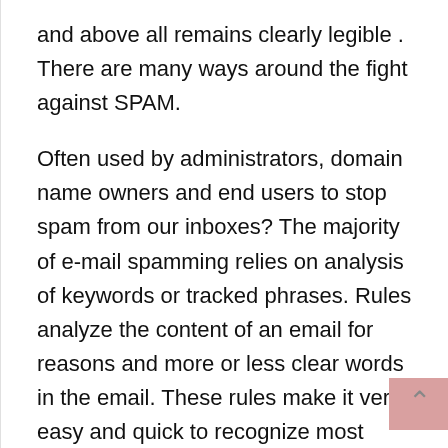and above all remains clearly legible . There are many ways around the fight against SPAM.
Often used by administrators, domain name owners and end users to stop spam from our inboxes? The majority of e-mail spamming relies on analysis of keywords or tracked phrases. Rules analyze the content of an email for reasons and more or less clear words in the email. These rules make it very easy and quick to recognize most simple and crude spam. Consider making use of greylisting . This is a technique in which the SMTP server broadcasts a provisional rejection for an incoming message, rather than a perpetual rejection. When the delivery is started a few minutes later, the SMTP server will therefore